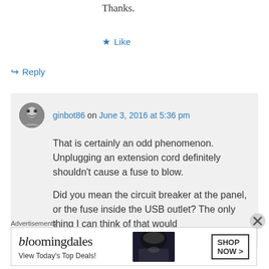Thanks.
★ Like
↪ Reply
ginbot86 on June 3, 2016 at 5:36 pm
That is certainly an odd phenomenon. Unplugging an extension cord definitely shouldn't cause a fuse to blow.

Did you mean the circuit breaker at the panel, or the fuse inside the USB outlet? The only thing I can think of that would
Advertisements
[Figure (screenshot): Bloomingdale's advertisement banner with text 'bloomingdales', 'View Today's Top Deals!', and a 'SHOP NOW >' button, with an image of a woman in a hat.]